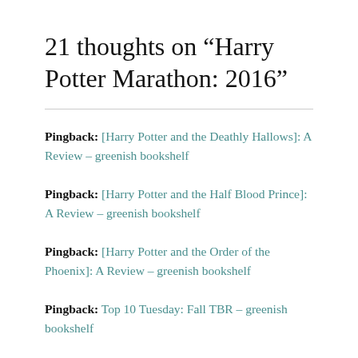21 thoughts on “Harry Potter Marathon: 2016”
Pingback: [Harry Potter and the Deathly Hallows]: A Review – greenish bookshelf
Pingback: [Harry Potter and the Half Blood Prince]: A Review – greenish bookshelf
Pingback: [Harry Potter and the Order of the Phoenix]: A Review – greenish bookshelf
Pingback: Top 10 Tuesday: Fall TBR – greenish bookshelf